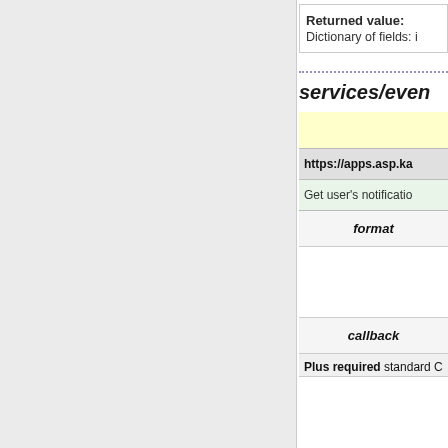| Returned value: |  |
| Dictionary of fields: i |  |
services/even
| (yellow row) |  |
| https://apps.asp.ka |  |
| Get user's notificatio |  |
| format |  |
|  |  |
| callback |  |
| Plus required standard C |  |